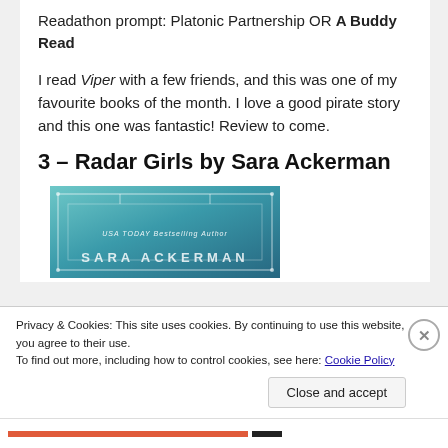Readathon prompt: Platonic Partnership OR A Buddy Read
I read Viper with a few friends, and this was one of my favourite books of the month. I love a good pirate story and this one was fantastic! Review to come.
3 – Radar Girls by Sara Ackerman
[Figure (photo): Book cover image for Radar Girls by Sara Ackerman, teal/teal-blue gradient background with white border decorations, text 'USA TODAY Bestselling Author' and author name 'SARA ACKERMAN' partially visible]
Privacy & Cookies: This site uses cookies. By continuing to use this website, you agree to their use.
To find out more, including how to control cookies, see here: Cookie Policy